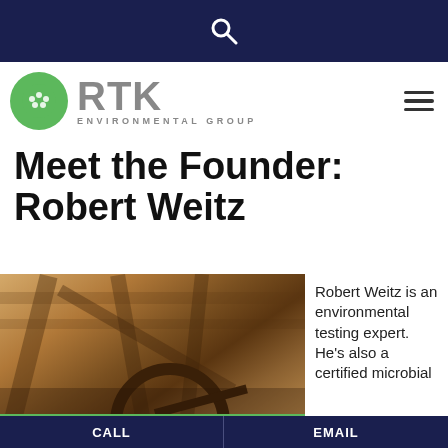🔍
[Figure (logo): RTK Environmental Group logo with green circle and RTK text]
Meet the Founder: Robert Weitz
[Figure (photo): Photo of Robert Weitz inspecting a wooden structure/attic with beams and a wheel mechanism]
Robert Weitz is an environmental testing expert. He's also a certified microbial
SCHEDULE AN APPOINTMENT
CALL | EMAIL